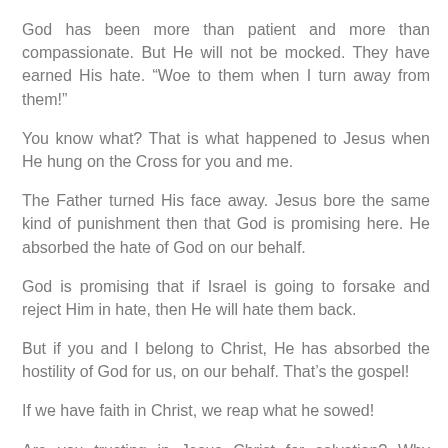God has been more than patient and more than compassionate. But He will not be mocked. They have earned His hate. “Woe to them when I turn away from them!”
You know what? That is what happened to Jesus when He hung on the Cross for you and me.
The Father turned His face away. Jesus bore the same kind of punishment then that God is promising here. He absorbed the hate of God on our behalf.
God is promising that if Israel is going to forsake and reject Him in hate, then He will hate them back.
But if you and I belong to Christ, He has absorbed the hostility of God for us, on our behalf. That’s the gospel!
If we have faith in Christ, we reap what he sowed!
Are you trusting in Jesus Christ for salvation? Why wouldn’t you?!